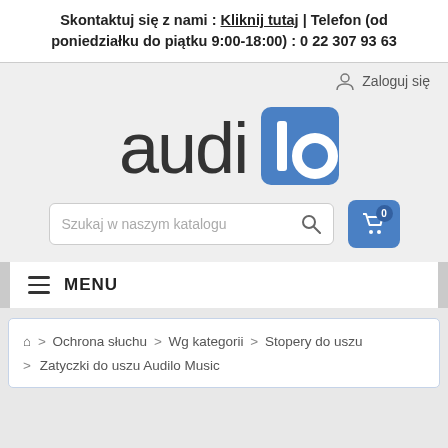Skontaktuj się z nami : Kliknij tutaj | Telefon (od poniedziałku do piątku 9:00-18:00) : 0 22 307 93 63
Zaloguj się
[Figure (logo): Audilo logo — lowercase 'audilo' text with a blue square containing a circle for the 'o' letter]
Szukaj w naszym katalogu
MENU
⌂ > Ochrona słuchu > Wg kategorii > Stopery do uszu > Zatyczki do uszu Audilo Music